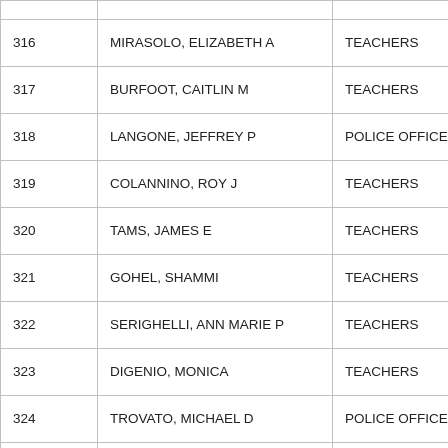|  | Name | Title |
| --- | --- | --- |
| 316 | MIRASOLO, ELIZABETH A | TEACHERS |
| 317 | BURFOOT, CAITLIN M | TEACHERS |
| 318 | LANGONE, JEFFREY P | POLICE OFFICER – 3 RI |
| 319 | COLANNINO, ROY J | TEACHERS |
| 320 | TAMS, JAMES E | TEACHERS |
| 321 | GOHEL, SHAMMI | TEACHERS |
| 322 | SERIGHELLI, ANN MARIE P | TEACHERS |
| 323 | DIGENIO, MONICA | TEACHERS |
| 324 | TROVATO, MICHAEL D | POLICE OFFICER – 3 RI |
| 325 | AMICO, JOSEPH | TEACHERS |
| 326 | BURT, KATIE A | TEACHERS |
| 327 | FLAHERTY, JILL J | TEACHERS |